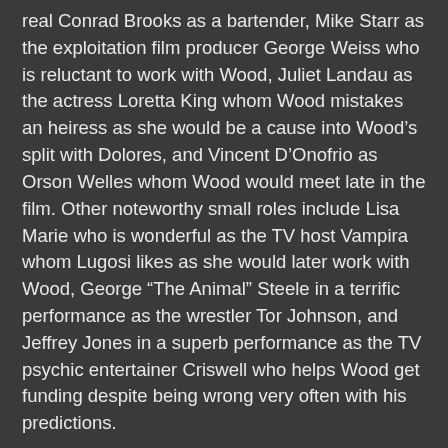real Conrad Brooks as a bartender, Mike Starr as the exploitation film producer George Weiss who is reluctant to work with Wood, Juliet Landau as the actress Loretta King whom Wood mistakes an heiress as she would be a cause into Wood's split with Dolores, and Vincent D'Onofrio as Orson Welles whom Wood would meet late in the film. Other noteworthy small roles include Lisa Marie who is wonderful as the TV host Vampira whom Lugosi likes as she would later work with Wood, George “The Animal” Steele in a terrific performance as the wrestler Tor Johnson, and Jeffrey Jones in a superb performance as the TV psychic entertainer Criswell who helps Wood get funding despite being wrong very often with his predictions.
Sarah Jessica Parker is excellent as Wood's girlfriend Dolores Fuller who is often supportive but becomes frustrated by his lack of success as well as being a transvestite. Patricia Arquette is fantastic as Wood's future wife Kathy O'Hara who not only accepts Wood for who he is but proves to be one of his biggest supporters. Bill Murray is hilarious as Wood's openly-gay friend Bunny Breckenridge who often finds transvestites for Wood's films as well as